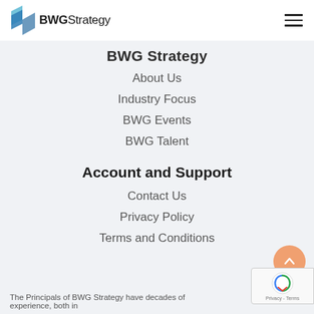BWGStrategy [logo] [hamburger menu]
BWG Strategy
About Us
Industry Focus
BWG Events
BWG Talent
Account and Support
Contact Us
Privacy Policy
Terms and Conditions
The Principals of BWG Strategy have decades of experience, both in